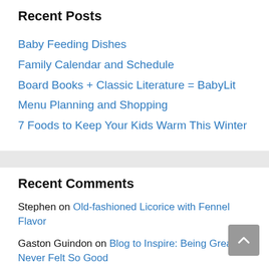Recent Posts
Baby Feeding Dishes
Family Calendar and Schedule
Board Books + Classic Literature = BabyLit
Menu Planning and Shopping
7 Foods to Keep Your Kids Warm This Winter
Recent Comments
Stephen on Old-fashioned Licorice with Fennel Flavor
Gaston Guindon on Blog to Inspire: Being Great Never Felt So Good